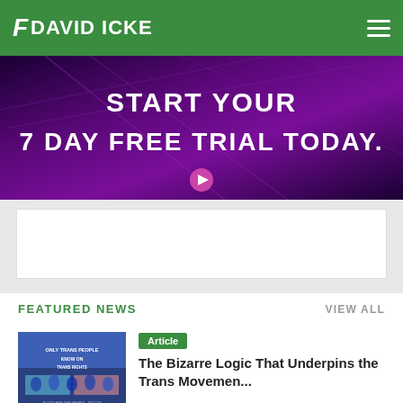DAVID ICKE
[Figure (screenshot): Purple gradient banner ad with text: START YOUR 7 DAY FREE TRIAL TODAY. with a pink play button at bottom center]
[Figure (other): White advertisement placeholder box]
FEATURED NEWS
VIEW ALL
[Figure (photo): Thumbnail image showing a trans rights protest with people holding signs]
Article
The Bizarre Logic That Underpins the Trans Movemen...